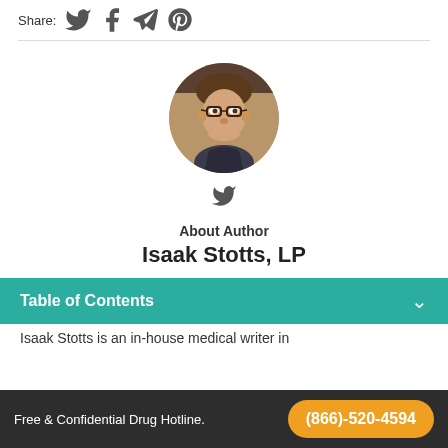Share:
[Figure (illustration): Circular author photo of Isaak Stotts, a man with glasses and short brown hair, wearing dark clothing.]
[Figure (logo): Twitter bird icon below the author photo]
About Author
Isaak Stotts, LP
Table of Contents
Isaak Stotts is an in-house medical writer in
Free & Confidential Drug Hotline. (866)-520-4594